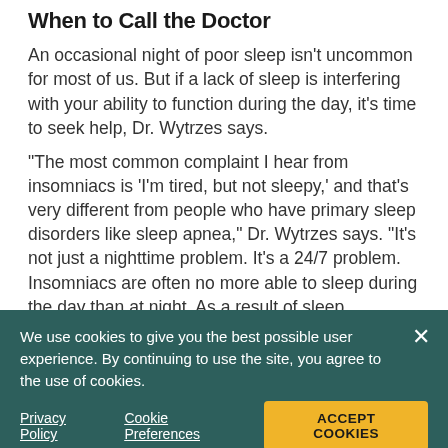When to Call the Doctor
An occasional night of poor sleep isn't uncommon for most of us. But if a lack of sleep is interfering with your ability to function during the day, it's time to seek help, Dr. Wytrzes says.
“The most common complaint I hear from insomniacs is ‘I’m tired, but not sleepy,’ and that’s very different from people who have primary sleep disorders like sleep apnea,” Dr. Wytrzes says. “It’s not just a nighttime problem. It’s a 24/7 problem. Insomniacs are often no more able to sleep during the day than at night. As a result of sleep deprivation, life begins to fall apart.”
We use cookies to give you the best possible user experience. By continuing to use the site, you agree to the use of cookies.
Privacy Policy | Cookie Preferences | ACCEPT COOKIES